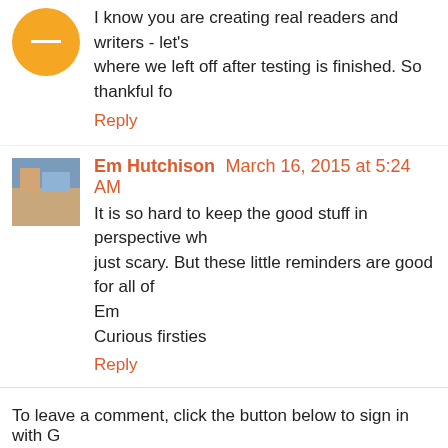I know you are creating real readers and writers - let's where we left off after testing is finished. So thankful fo
Reply
Em Hutchison March 16, 2015 at 5:24 AM
It is so hard to keep the good stuff in perspective wh just scary. But these little reminders are good for all of Em
Curious firsties
Reply
To leave a comment, click the button below to sign in with G
SIGN IN WITH GOOGLE
Newer Post
Home
Subscribe to: Post Comments (Atom)